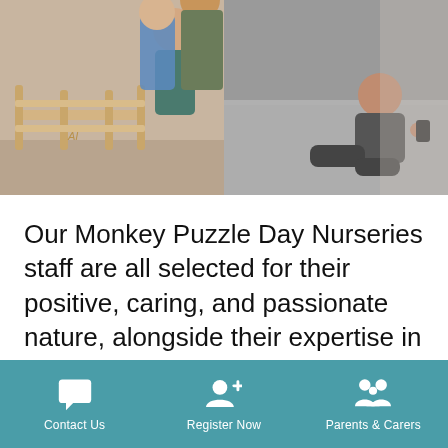[Figure (photo): Photo of children in a nursery setting. Left side shows children near wooden furniture/toy crib. Right side shows a child sitting on a fluffy grey carpet.]
Our Monkey Puzzle Day Nurseries staff are all selected for their positive, caring, and passionate nature, alongside their expertise in care that they bring. We value their diversity and the unique qualities and skills
Contact Us   Register Now   Parents & Carers